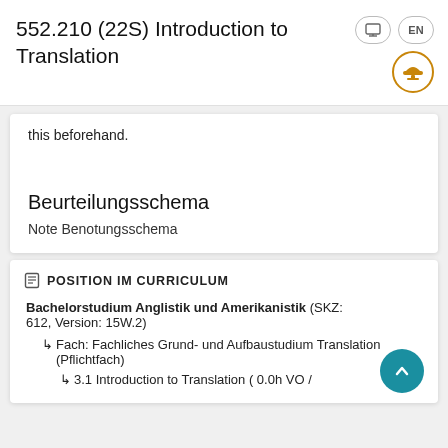552.210 (22S) Introduction to Translation
this beforehand.
Beurteilungsschema
Note Benotungsschema
POSITION IM CURRICULUM
Bachelorstudium Anglistik und Amerikanistik (SKZ: 612, Version: 15W.2)
↳ Fach: Fachliches Grund- und Aufbaustudium Translation (Pflichtfach)
↳ 3.1 Introduction to Translation ( 0.0h VO /